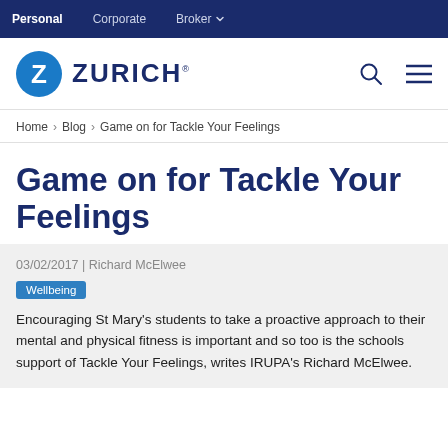Personal | Corporate | Broker
[Figure (logo): Zurich Insurance logo with blue circle Z and ZURICH text]
Home > Blog > Game on for Tackle Your Feelings
Game on for Tackle Your Feelings
03/02/2017 | Richard McElwee
Wellbeing
Encouraging St Mary's students to take a proactive approach to their mental and physical fitness is important and so too is the schools support of Tackle Your Feelings, writes IRUPA's Richard McElwee.